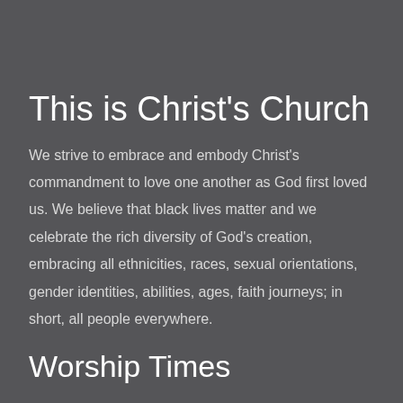This is Christ's Church
We strive to embrace and embody Christ's commandment to love one another as God first loved us. We believe that black lives matter and we celebrate the rich diversity of God's creation, embracing all ethnicities, races, sexual orientations, gender identities, abilities, ages, faith journeys; in short, all people everywhere.
Worship Times